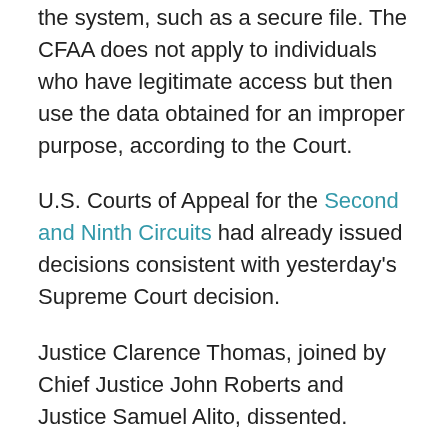the system, such as a secure file. The CFAA does not apply to individuals who have legitimate access but then use the data obtained for an improper purpose, according to the Court.
U.S. Courts of Appeal for the Second and Ninth Circuits had already issued decisions consistent with yesterday's Supreme Court decision.
Justice Clarence Thomas, joined by Chief Justice John Roberts and Justice Samuel Alito, dissented.
Don't go away! Ron Sarian, chair of our Digital Workplace & Data Privacy practice group, will